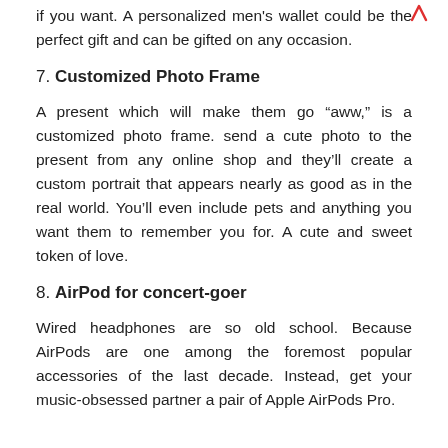if you want. A personalized men's wallet could be the perfect gift and can be gifted on any occasion.
7. Customized Photo Frame
A present which will make them go “aww,” is a customized photo frame. send a cute photo to the present from any online shop and they’ll create a custom portrait that appears nearly as good as in the real world. You’ll even include pets and anything you want them to remember you for. A cute and sweet token of love.
8. AirPod for concert-goer
Wired headphones are so old school. Because AirPods are one among the foremost popular accessories of the last decade. Instead, get your music-obsessed partner a pair of Apple AirPods Pro.